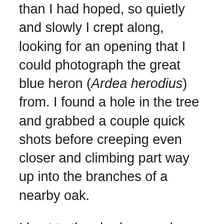than I had hoped, so quietly and slowly I crept along, looking for an opening that I could photograph the great blue heron (Ardea herodius) from. I found a hole in the tree and grabbed a couple quick shots before creeping even closer and climbing part way up into the branches of a nearby oak.
I kept to the shadows and darker areas, trying not to expose myself to the heron's sight as I swayed slightly, wrapping an arm around the oak as I also tried holding the camera steady. I watched as the wind stirred its dangling, pointy neck plumage, trying to time it to where they were puffed in the wind.
I was never able to keep all of the lower, blurred out foliage of the tree I was hiding in from the frames' of the images, but I am still happy with the images, as the